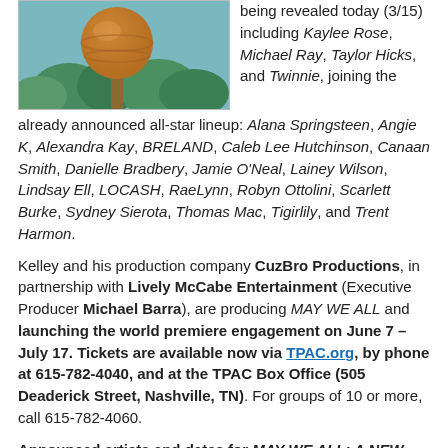[Figure (photo): Outdoor photo showing a large spherical water tower or tank in warm golden-brown tones, with trees and blue sky in the background.]
being revealed today (3/15) including Kaylee Rose, Michael Ray, Taylor Hicks, and Twinnie, joining the already announced all-star lineup: Alana Springsteen, Angie K, Alexandra Kay, BRELAND, Caleb Lee Hutchinson, Canaan Smith, Danielle Bradbery, Jamie O'Neal, Lainey Wilson, Lindsay Ell, LOCASH, RaeLynn, Robyn Ottolini, Scarlett Burke, Sydney Sierota, Thomas Mac, Tigirlily, and Trent Harmon.
Kelley and his production company CuzBro Productions, in partnership with Lively McCabe Entertainment (Executive Producer Michael Barra), are producing MAY WE ALL and launching the world premiere engagement on June 7 – July 17. Tickets are available now via TPAC.org, by phone at 615-782-4040, and at the TPAC Box Office (505 Deaderick Street, Nashville, TN). For groups of 10 or more, call 615-782-4060.
Announced artists and dates for MAY WE ALL: A NEW COUNTRY MUSICAL:
JUNE
7 | LOCASH